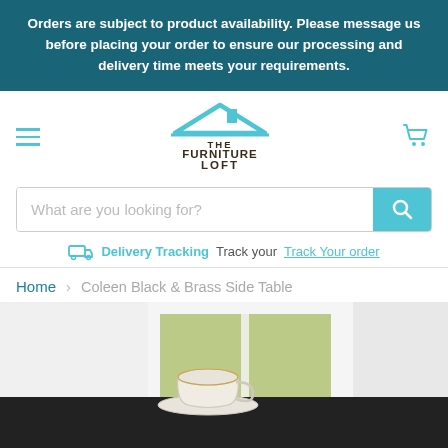Orders are subject to product availability. Please message us before placing your order to ensure our processing and delivery time meets your requirements.
[Figure (logo): The Furniture Loft logo with blue roof icon and dark brown text]
What are you looking for?
Delivery Tracking  Track your Track Your order
Home › Coleen Black & Brass Side Table
[Figure (photo): Coleen Black & Brass Side Table product photo showing a dark side table with a tea cup and saucer on it, in front of a bright window with green garden outside]